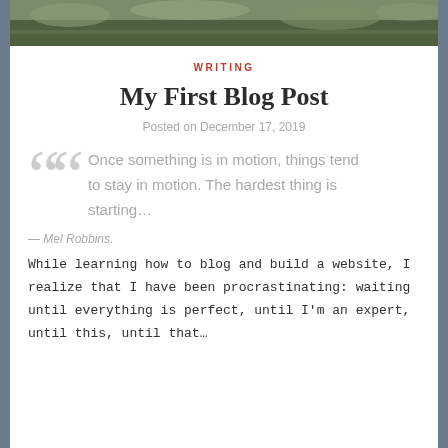[Figure (photo): Landscape hero image showing rocky terrain with grass and shrubs]
WRITING
My First Blog Post
Posted on December 17, 2019
Once something is in motion, things tend to stay in motion. The hardest thing is starting...
— Mel Robbins.
While learning how to blog and build a website, I realize that I have been procrastinating: waiting until everything is perfect, until I'm an expert, until this, until that...